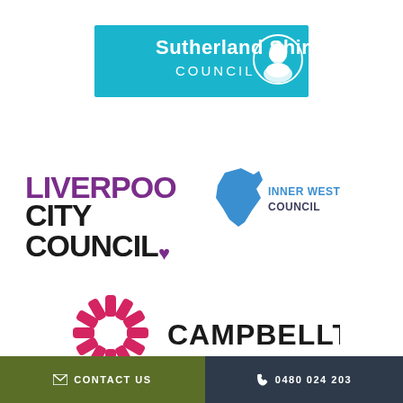[Figure (logo): Sutherland Shire Council logo — teal/cyan background rectangle with white text 'Sutherland Shire COUNCIL' and a white circle containing a portrait silhouette]
[Figure (logo): Liverpool City Council logo — bold black and purple text reading 'LIVERPOOL CITY COUNCIL.' with a small purple heart/dot]
[Figure (logo): Inner West Council logo — blue map shape of the Inner West district with 'INNER WEST COUNCIL' text in blue and dark grey]
[Figure (logo): Campbelltown logo — pink/crimson starburst/sunburst icon on the left with bold black text 'CAMPBELLTOWN']
✉ CONTACT US   ☎ 0480 024 203